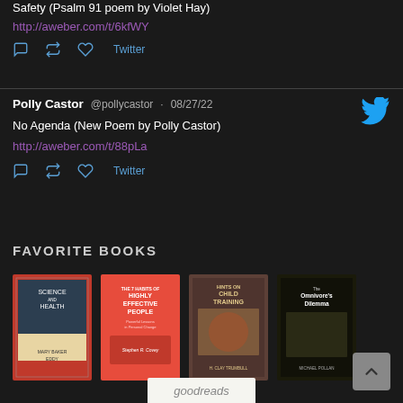Safety (Psalm 91 poem by Violet Hay)
http://aweber.com/t/6kfWY
Polly Castor @pollycastor · 08/27/22
No Agenda (New Poem by Polly Castor)
http://aweber.com/t/88pLa
FAVORITE BOOKS
[Figure (photo): Four book covers: Science and Health, 7 Habits of Highly Effective People, Hints on Child Training, The Omnivore's Dilemma]
[Figure (logo): goodreads logo]